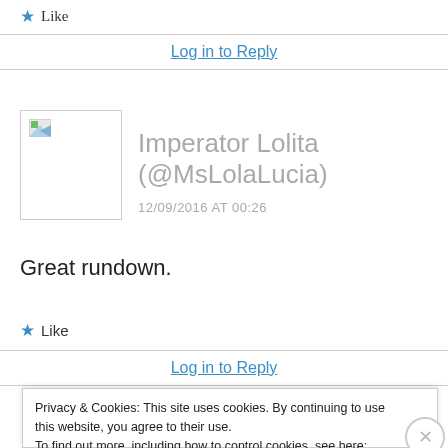★ Like
Log in to Reply
Imperator Lolita (@MsLolaLucia)
12/09/2016 AT 00:26
Great rundown.
★ Like
Log in to Reply
Privacy & Cookies: This site uses cookies. By continuing to use this website, you agree to their use.
To find out more, including how to control cookies, see here: Cookie Policy
Close and accept